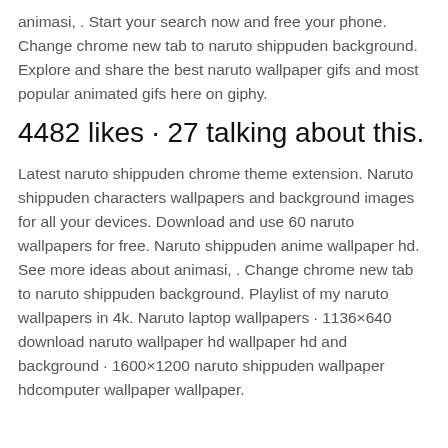animasi, . Start your search now and free your phone. Change chrome new tab to naruto shippuden background. Explore and share the best naruto wallpaper gifs and most popular animated gifs here on giphy.
4482 likes · 27 talking about this.
Latest naruto shippuden chrome theme extension. Naruto shippuden characters wallpapers and background images for all your devices. Download and use 60 naruto wallpapers for free. Naruto shippuden anime wallpaper hd. See more ideas about animasi, . Change chrome new tab to naruto shippuden background. Playlist of my naruto wallpapers in 4k. Naruto laptop wallpapers · 1136×640 download naruto wallpaper hd wallpaper hd and background · 1600×1200 naruto shippuden wallpaper hdcomputer wallpaper wallpaper.